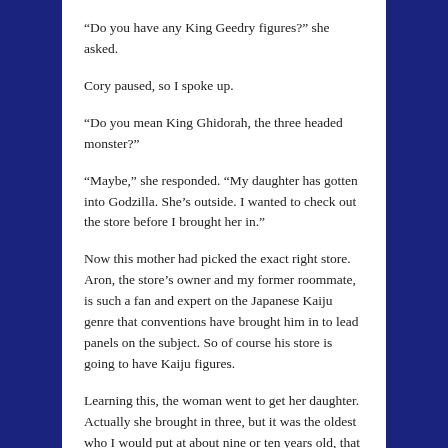“Do you have any King Geedry figures?” she asked.
Cory paused, so I spoke up.
“Do you mean King Ghidorah, the three headed monster?”
“Maybe,” she responded. “My daughter has gotten into Godzilla. She’s outside. I wanted to check out the store before I brought her in.”
Now this mother had picked the exact right store. Aron, the store’s owner and my former roommate, is such a fan and expert on the Japanese Kaiju genre that conventions have brought him in to lead panels on the subject. So of course his store is going to have Kaiju figures.
Learning this, the woman went to get her daughter. Actually she brought in three, but it was the oldest who I would put at about nine or ten years old, that was the Godzilla fan. I happened to know that there was a deluxe